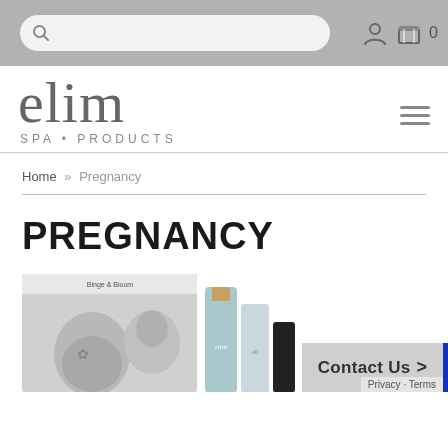Search bar with user account and cart icons (0 items)
[Figure (logo): Elim Spa Products logo — stylized serif lowercase 'elim' with 'SPA • PRODUCTS' subtitle]
Home » Pregnancy
PREGNANCY
[Figure (photo): Black and white photo of a pregnant woman with a man, alongside Elim product bottles]
Contact Us >
Privacy · Terms